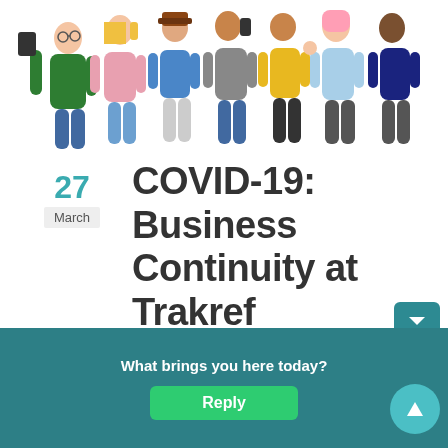[Figure (illustration): Group of cartoon bitmoji-style diverse people standing together, cropped at waist/top level]
27
March
COVID-19: Business Continuity at Trakref
March 27, 2020 / In Uncategorized /
What brings you here today?
Reply